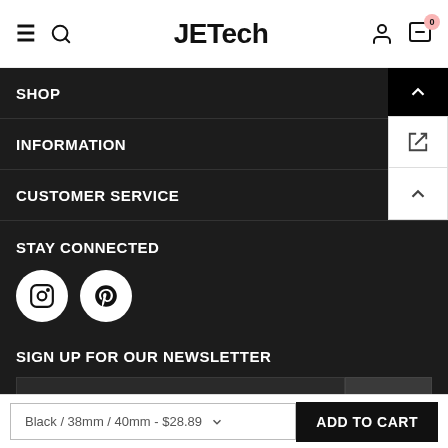JETech
SHOP
INFORMATION
CUSTOMER SERVICE
STAY CONNECTED
SIGN UP FOR OUR NEWSLETTER
enter your email address
SUBMIT
Black / 38mm / 40mm - $28.89
ADD TO CART